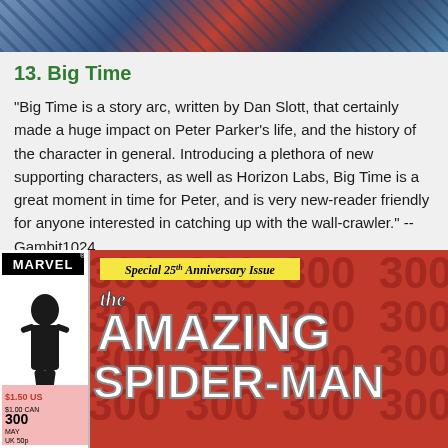[Figure (photo): Top portion of a comic book or superhero image showing blue/dark tones]
13. Big Time
"Big Time is a story arc, written by Dan Slott, that certainly made a huge impact on Peter Parker's life, and the history of the character in general. Introducing a plethora of new supporting characters, as well as Horizon Labs, Big Time is a great moment in time for Peter, and is very new-reader friendly for anyone interested in catching up with the wall-crawler." -- Gambit1024
[Figure (photo): Cover of The Amazing Spider-Man Special 25th Anniversary Issue #300, Marvel Comics. Orange/red background filled with repeated '300' numbers. Left strip shows black Spider-Man figure in white panel. Title reads 'the AMAZING SPIDER-MAN'. Price $1.50 US, issue 300, May.]